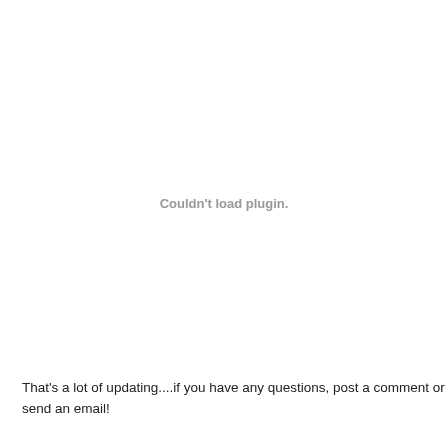[Figure (other): Embedded plugin area showing 'Couldn't load plugin.' message in gray text]
That's a lot of updating....if you have any questions, post a comment or send an email!